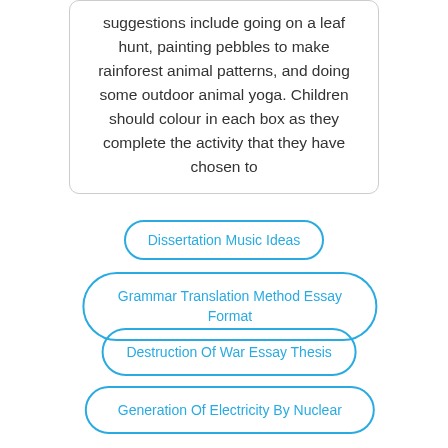suggestions include going on a leaf hunt, painting pebbles to make rainforest animal patterns, and doing some outdoor animal yoga. Children should colour in each box as they complete the activity that they have chosen to
Dissertation Music Ideas
Grammar Translation Method Essay Format
Destruction Of War Essay Thesis
Generation Of Electricity By Nuclear